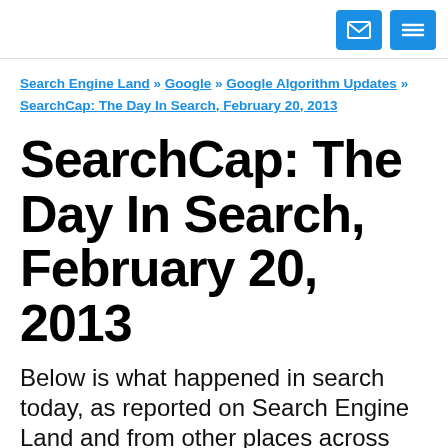[email icon] [menu icon]
Search Engine Land » Google » Google Algorithm Updates » SearchCap: The Day In Search, February 20, 2013
SearchCap: The Day In Search, February 20, 2013
Below is what happened in search today, as reported on Search Engine Land and from other places across the Web. From...